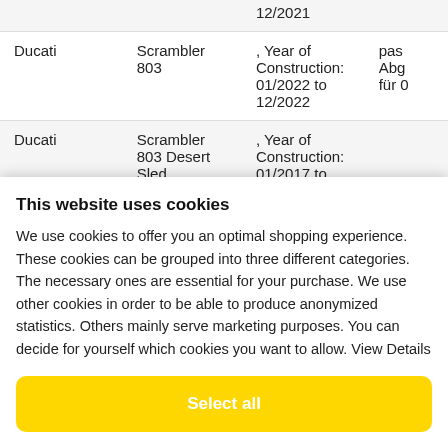| Brand | Model | Details | Info |
| --- | --- | --- | --- |
|  |  | 12/2021 |  |
| Ducati | Scrambler 803 | , Year of Construction: 01/2022 to 12/2022 | pas Abg für 0 |
| Ducati | Scrambler 803 Desert Sled | , Year of Construction: 01/2017 to |  |
This website uses cookies
We use cookies to offer you an optimal shopping experience. These cookies can be grouped into three different categories. The necessary ones are essential for your purchase. We use other cookies in order to be able to produce anonymized statistics. Others mainly serve marketing purposes. You can decide for yourself which cookies you want to allow. View Details